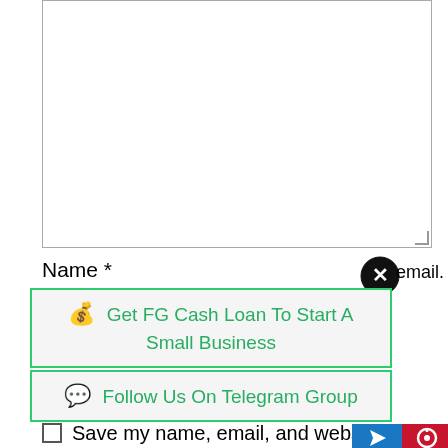[Figure (screenshot): A comment form textarea (large empty input box) at the top of the page]
Name *
[Figure (screenshot): Name input field (empty text box)]
Email *
[Figure (screenshot): Email input field (empty text box)]
Save my name, email, and website in this browser for the next time I comment.
[Figure (screenshot): Close button (black circle with X) overlay]
email.
💰 Get FG Cash Loan To Start A Small Business
💬 Follow Us On Telegram Group